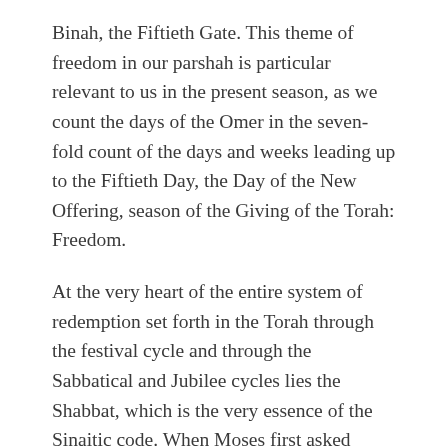Binah, the Fiftieth Gate. This theme of freedom in our parshah is particular relevant to us in the present season, as we count the days of the Omer in the seven-fold count of the days and weeks leading up to the Fiftieth Day, the Day of the New Offering, season of the Giving of the Torah: Freedom.
At the very heart of the entire system of redemption set forth in the Torah through the festival cycle and through the Sabbatical and Jubilee cycles lies the Shabbat, which is the very essence of the Sinaitic code. When Moses first asked Pharoah to free the Israelites, all he requested was that they should go “into the wilderness” (away from the technology of civilization) in order to liberate themselves from slavery to earthly lords of the land like Pharaoh. The commandment of